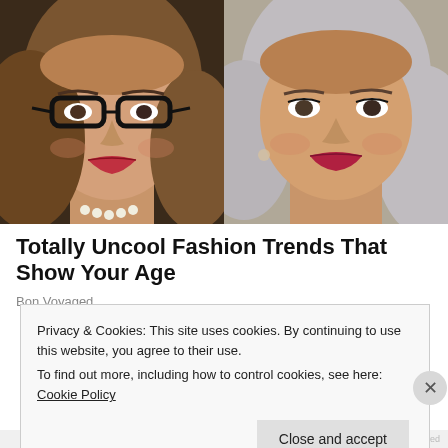[Figure (photo): Two side-by-side portrait photos of women. Left: woman with dark glasses, brown hair, red lipstick, pearl necklace. Right: woman with silver-gray hair, red lipstick, smiling.]
Totally Uncool Fashion Trends That Show Your Age
Bon Voyaged
Privacy & Cookies: This site uses cookies. By continuing to use this website, you agree to their use.
To find out more, including how to control cookies, see here: Cookie Policy
Close and accept